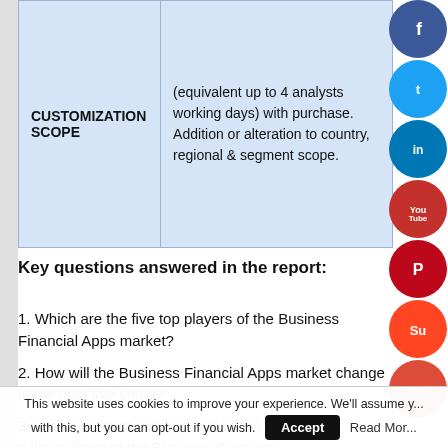|  |  |
| --- | --- |
| CUSTOMIZATION SCOPE | (equivalent up to 4 analysts working days) with purchase. Addition or alteration to country, regional & segment scope. |
Key questions answered in the report:
1. Which are the five top players of the Business Financial Apps market?
2. How will the Business Financial Apps market change in the next five years?
3. Which product and application will take a lion's share of the Business Financial
This website uses cookies to improve your experience. We'll assume you're ok with this, but you can opt-out if you wish. Accept Read More